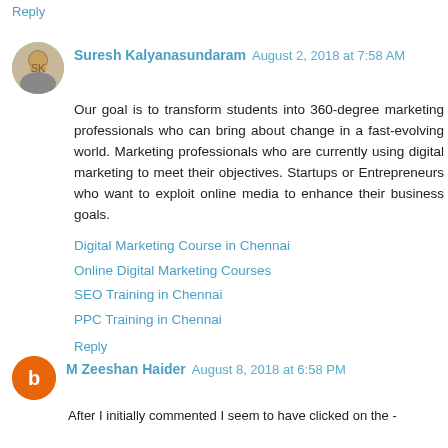Reply
Suresh Kalyanasundaram  August 2, 2018 at 7:58 AM
Our goal is to transform students into 360-degree marketing professionals who can bring about change in a fast-evolving world. Marketing professionals who are currently using digital marketing to meet their objectives. Startups or Entrepreneurs who want to exploit online media to enhance their business goals.
Digital Marketing Course in Chennai
Online Digital Marketing Courses
SEO Training in Chennai
PPC Training in Chennai
Reply
M Zeeshan Haider  August 8, 2018 at 6:58 PM
After I initially commented I seem to have clicked on the -